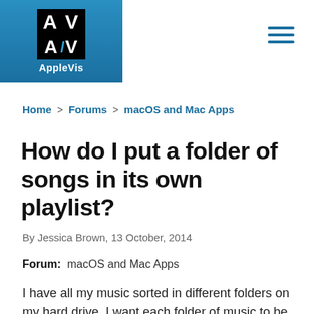[Figure (logo): AppleVis logo: AV in white on black background with blue slash, below it the text AppleVis in white on blue background header bar]
[Figure (other): Hamburger menu icon (three horizontal blue lines) in top right corner]
Home > Forums > macOS and Mac Apps
How do I put a folder of songs in its own playlist?
By Jessica Brown, 13 October, 2014
Forum: macOS and Mac Apps
I have all my music sorted in different folders on my hard drive. I want each folder of music to be in it's own playlist and I want the playlists to have the names that